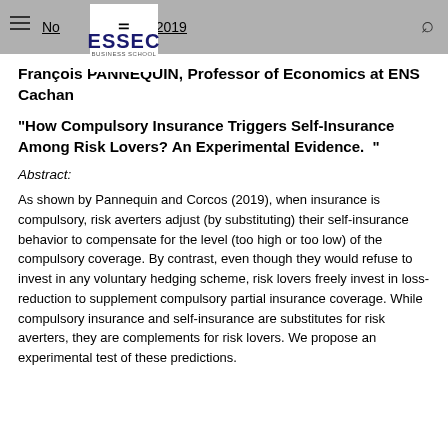November 21rd, 2019
François PANNEQUIN,  Professor of Economics at ENS Cachan
“How Compulsory Insurance Triggers Self-Insurance Among Risk Lovers? An Experimental Evidence.  ”
Abstract:
As shown by Pannequin and Corcos (2019), when insurance is compulsory, risk averters adjust (by substituting) their self-insurance behavior to compensate for the level (too high or too low) of the compulsory coverage. By contrast, even though they would refuse to invest in any voluntary hedging scheme, risk lovers freely invest in loss-reduction to supplement compulsory partial insurance coverage. While compulsory insurance and self-insurance are substitutes for risk averters, they are complements for risk lovers. We propose an experimental test of these predictions.